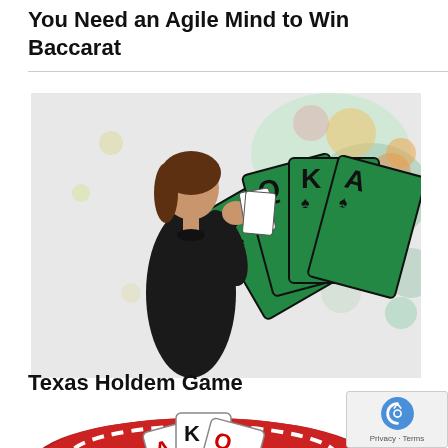You Need an Agile Mind to Win Baccarat
[Figure (photo): A woman in a black dress holding playing cards, with large playing cards (J, Q, K, A of spades) and colorful bokeh lights in the background — a casino baccarat themed image]
Texas Holdem Game
[Figure (photo): Partial image of red casino chips and playing cards on a table — Texas Holdem game themed]
[Figure (other): Google reCAPTCHA badge showing robot icon and Privacy - Terms text]